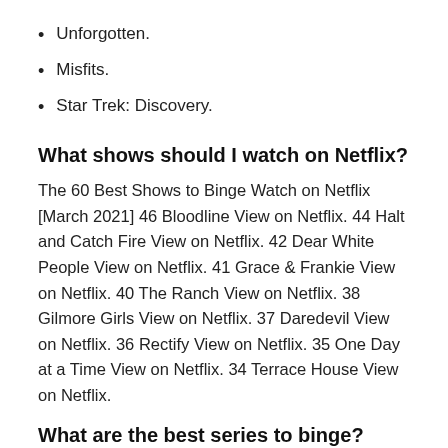Unforgotten.
Misfits.
Star Trek: Discovery.
What shows should I watch on Netflix?
The 60 Best Shows to Binge Watch on Netflix [March 2021] 46 Bloodline View on Netflix. 44 Halt and Catch Fire View on Netflix. 42 Dear White People View on Netflix. 41 Grace & Frankie View on Netflix. 40 The Ranch View on Netflix. 38 Gilmore Girls View on Netflix. 37 Daredevil View on Netflix. 36 Rectify View on Netflix. 35 One Day at a Time View on Netflix. 34 Terrace House View on Netflix.
What are the best series to binge?